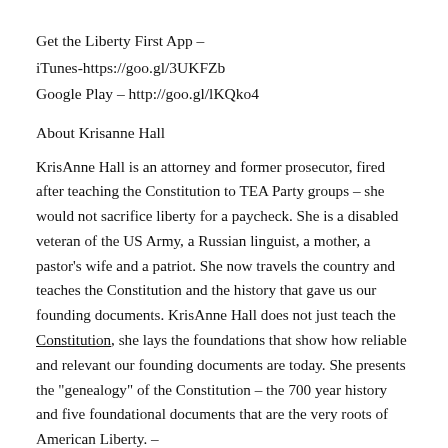Get the Liberty First App –
iTunes-https://goo.gl/3UKFZb
Google Play – http://goo.gl/lKQko4
About Krisanne Hall
KrisAnne Hall is an attorney and former prosecutor, fired after teaching the Constitution to TEA Party groups – she would not sacrifice liberty for a paycheck. She is a disabled veteran of the US Army, a Russian linguist, a mother, a pastor's wife and a patriot. She now travels the country and teaches the Constitution and the history that gave us our founding documents. KrisAnne Hall does not just teach the Constitution, she lays the foundations that show how reliable and relevant our founding documents are today. She presents the "genealogy" of the Constitution – the 700 year history and five foundational documents that are the very roots of American Liberty. –